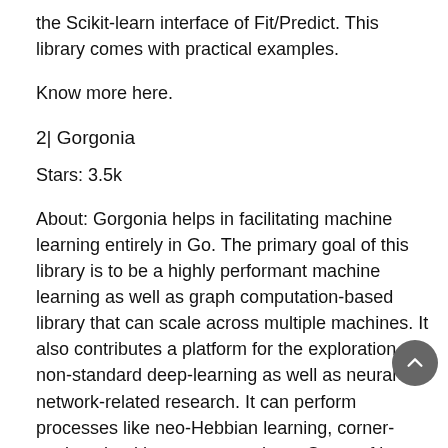the Scikit-learn interface of Fit/Predict. This library comes with practical examples.
Know more here.
2| Gorgonia
Stars: 3.5k
About: Gorgonia helps in facilitating machine learning entirely in Go. The primary goal of this library is to be a highly performant machine learning as well as graph computation-based library that can scale across multiple machines. It also contributes a platform for the exploration of non-standard deep-learning as well as neural network-related research. It can perform processes like neo-Hebbian learning, corner-cutting algorithms, among others. Some of its features are-
Gorgonia can perform automatic differentiation, symbolic differentiation, gradient descent optimisations and numerical stabilisation. The library provides many convenience